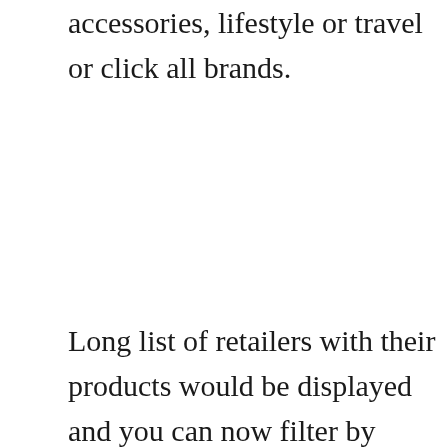accessories, lifestyle or travel or click all brands.
Long list of retailers with their products would be displayed and you can now filter by selecting